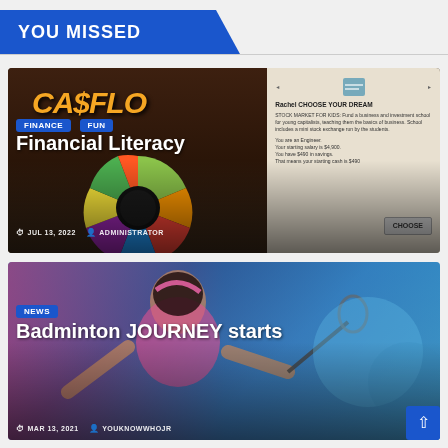YOU MISSED
[Figure (photo): Financial Literacy article thumbnail showing Cashflow board game on left and stock market for kids game screen on right]
FINANCE  FUN
Financial Literacy
JUL 13, 2022  ADMINISTRATOR
[Figure (photo): Badminton player in action wearing pink top, with blue background]
NEWS
Badminton JOURNEY starts
MAR 13, 2021  YOUKNOWWHOJR